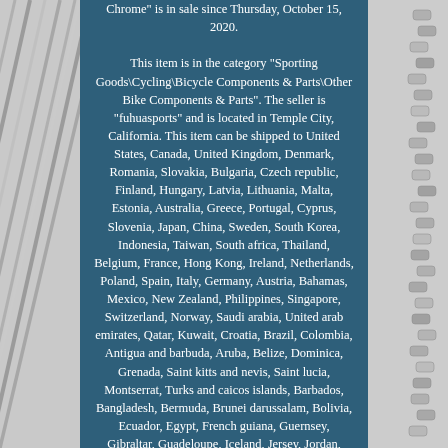[Figure (photo): Left side: diagonal metal bicycle spokes/rods on a light gray background]
Chrome" is in sale since Thursday, October 15, 2020.

This item is in the category "Sporting Goods\Cycling\Bicycle Components & Parts\Other Bike Components & Parts". The seller is "fuhuasports" and is located in Temple City, California. This item can be shipped to United States, Canada, United Kingdom, Denmark, Romania, Slovakia, Bulgaria, Czech republic, Finland, Hungary, Latvia, Lithuania, Malta, Estonia, Australia, Greece, Portugal, Cyprus, Slovenia, Japan, China, Sweden, South Korea, Indonesia, Taiwan, South africa, Thailand, Belgium, France, Hong Kong, Ireland, Netherlands, Poland, Spain, Italy, Germany, Austria, Bahamas, Mexico, New Zealand, Philippines, Singapore, Switzerland, Norway, Saudi arabia, United arab emirates, Qatar, Kuwait, Croatia, Brazil, Colombia, Antigua and barbuda, Aruba, Belize, Dominica, Grenada, Saint kitts and nevis, Saint lucia, Montserrat, Turks and caicos islands, Barbados, Bangladesh, Bermuda, Brunei darussalam, Bolivia, Ecuador, Egypt, French guiana, Guernsey, Gibraltar, Guadeloupe, Iceland, Jersey, Jordan, Cambodia, Liechtenstein, Sri lanka, Luxembourg, Monaco, Macao, Martinique, Maldives, Nicaragua, Oman, Peru, Pakistan, Paraguay, Reunion, Viet nam, Uruguay, Russian federation.
[Figure (photo): Right side: small metal bicycle spoke nipples/connectors on a light gray background]